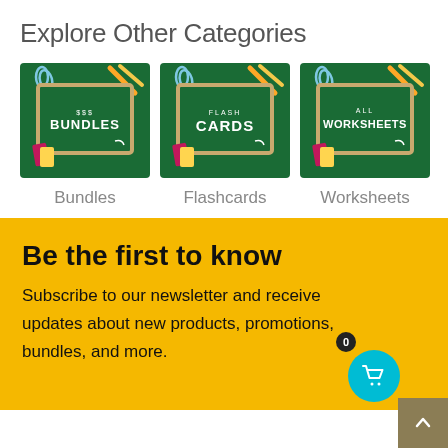Explore Other Categories
[Figure (illustration): Three category thumbnails: Bundles (chalkboard with pencils and books, text '$$$BUNDLES'), Flashcards (chalkboard with 'FLASH CARDS'), Worksheets (chalkboard with 'ALL WORKSHEETS')]
Bundles
Flashcards
Worksheets
Be the first to know
Subscribe to our newsletter and receive updates about new products, promotions, bundles, and more.